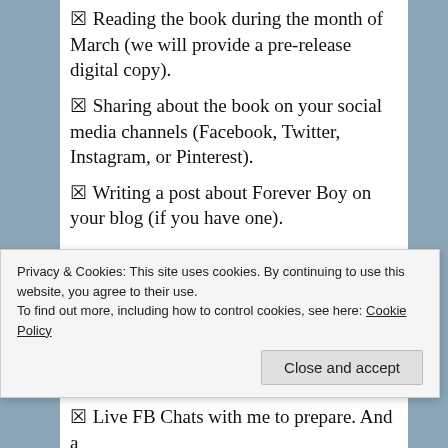✦ Reading the book during the month of March (we will provide a pre-release digital copy).
✦ Sharing about the book on your social media channels (Facebook, Twitter, Instagram, or Pinterest).
✦ Writing a post about Forever Boy on your blog (if you have one).
✦ Posting a review on Amazon, Barnes & Noble and other online retailers on April 5.
✦ Finding other creative ways to tell someone about the book and how it has impacted you.
What are Some Benefits for You?
Privacy & Cookies: This site uses cookies. By continuing to use this website, you agree to their use. To find out more, including how to control cookies, see here: Cookie Policy
✦ Live FB Chats with me to prepare. And a